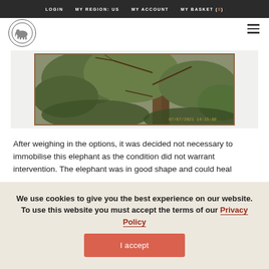LOGIN   MY REGION: US   MY ACCOUNT   MY BASKET (0)
[Figure (photo): Framed photograph of an elephant partially hidden among dense bush vegetation, with a timestamp visible in the lower right corner]
After weighing in the options, it was decided not necessary to immobilise this elephant as the condition did not warrant intervention. The elephant was in good shape and could heal
We use cookies to give you the best experience on our website. To use this website you must accept the terms of our Privacy Policy
I accept